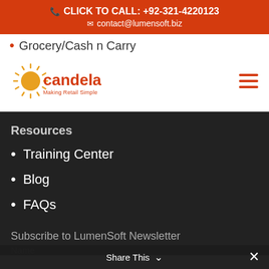CLICK TO CALL: +92-321-4220123
contact@lumensoft.biz
Grocery/Cash n Carry
[Figure (logo): Candela logo with sun rays and tagline Making Retail Simple]
Resources
Training Center
Blog
FAQs
Subscribe to LumenSoft Newsletter
Name
Share This